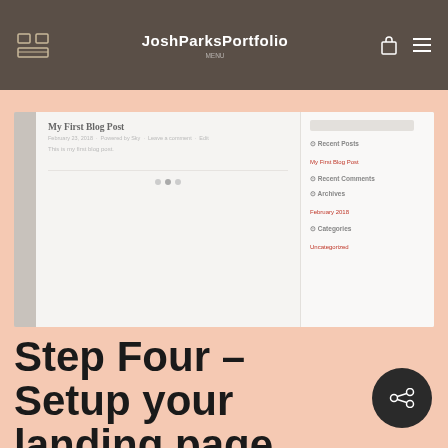JoshParksPortfolio
[Figure (screenshot): Screenshot of a WordPress blog page showing 'My First Blog Post' with date, categories, and a sidebar with Recent Posts, Recent Comments, Archives, and Categories widgets]
Step Four – Setup your landing page